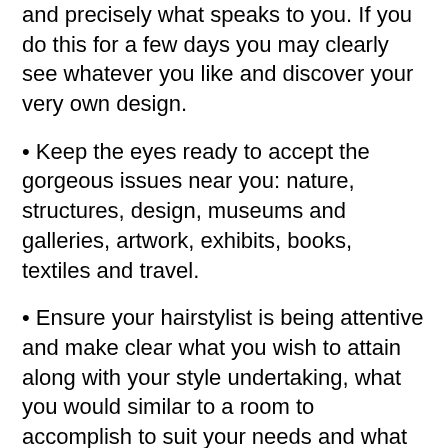and precisely what speaks to you. If you do this for a few days you may clearly see whatever you like and discover your very own design.
• Keep the eyes ready to accept the gorgeous issues near you: nature, structures, design, museums and galleries, artwork, exhibits, books, textiles and travel.
• Ensure your hairstylist is being attentive and make clear what you wish to attain along with your style undertaking, what you would similar to a room to accomplish to suit your needs and what mood you would like to generate within